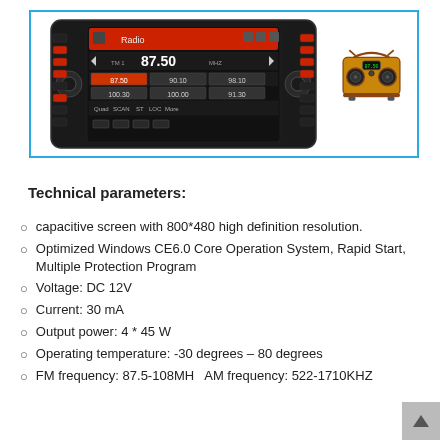[Figure (photo): Car head unit / in-dash stereo showing FM radio tuner screen at 87.50 MHz with preset stations, alongside a cartoon boombox illustration, inside a blue-bordered box.]
Technical parameters:
capacitive screen with 800*480 high definition resolution.
Optimized Windows CE6.0 Core Operation System, Rapid Start, Multiple Protection Program
Voltage: DC 12V
Current: 30 mA
Output power: 4 * 45 W
Operating temperature: -30 degrees – 80 degrees
FM frequency: 87.5-108MH   AM frequency: 522-1710KHZ